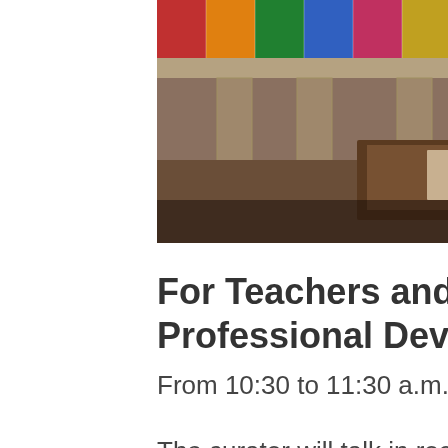[Figure (photo): Interior of a museum or library gallery with display cases and colorful posters/book covers along the back wall. Wooden display tables with open books or materials in the foreground.]
For Teachers and Librarians, A Professional Development Workshop
From 10:30 to 11:30 a.m., then Gallery Tour
The curator will talk in room 120 about The ABC of It and the